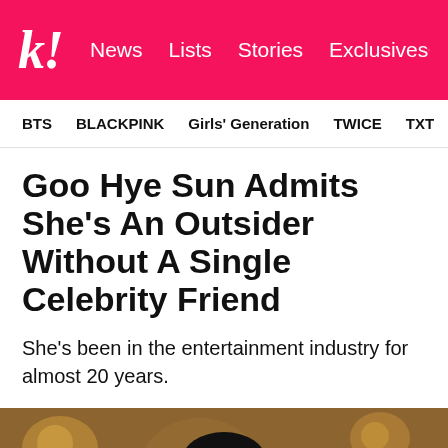k! News  Lists  Stories  Exclusives
BTS  BLACKPINK  Girls' Generation  TWICE  TXT  SEVE
Goo Hye Sun Admits She's An Outsider Without A Single Celebrity Friend
She's been in the entertainment industry for almost 20 years.
[Figure (photo): Photo of Goo Hye Sun, a woman with dark hair and bangs, photographed against a warm bokeh background with golden lights.]